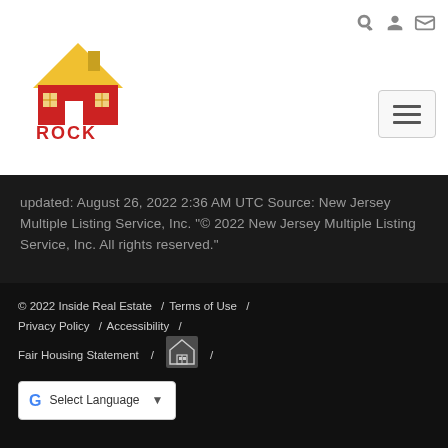[Figure (logo): Rock Realtors logo with house icon and red text]
updated: August 26, 2022 2:36 AM UTC Source: New Jersey Multiple Listing Service, Inc. "© 2022 New Jersey Multiple Listing Service, Inc. All rights reserved."
© 2022 Inside Real Estate / Terms of Use / Privacy Policy / Accessibility / Fair Housing Statement / [Equal Housing Opportunity logo] / Select Language